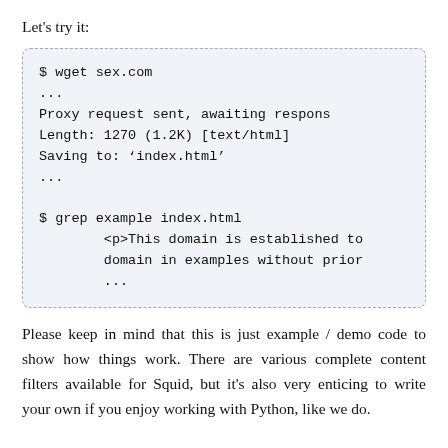Let's try it:
$ wget sex.com
...
Proxy request sent, awaiting respons
Length: 1270 (1.2K) [text/html]
Saving to: ‘index.html’
...

$ grep example index.html
        <p>This domain is established to
        domain in examples without prior
        ...
Please keep in mind that this is just example / demo code to show how things work. There are various complete content filters available for Squid, but it's also very enticing to write your own if you enjoy working with Python, like we do.